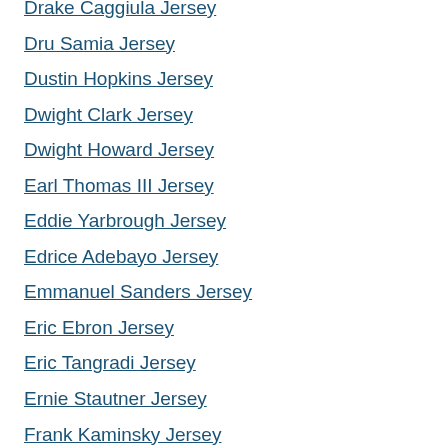Drake Caggiula Jersey
Dru Samia Jersey
Dustin Hopkins Jersey
Dwight Clark Jersey
Dwight Howard Jersey
Earl Thomas III Jersey
Eddie Yarbrough Jersey
Edrice Adebayo Jersey
Emmanuel Sanders Jersey
Eric Ebron Jersey
Eric Tangradi Jersey
Ernie Stautner Jersey
Frank Kaminsky Jersey
Gabriel Landeskog Jersey
George Blanda Jersey
Gerald McCoy Jersey
Germain Ifedi Jersey
Giovani Bernard Jersey
Greg Olsen Jersey